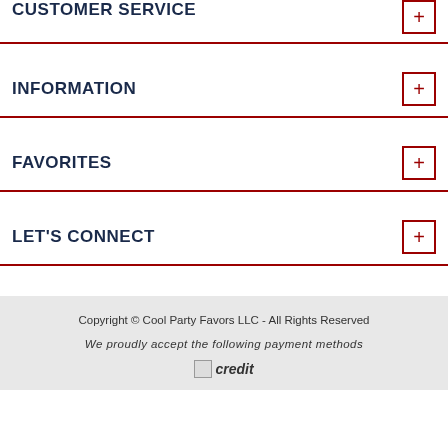CUSTOMER SERVICE
INFORMATION
FAVORITES
LET'S CONNECT
Copyright © Cool Party Favors LLC - All Rights Reserved
We proudly accept the following payment methods
[Figure (other): Broken image placeholder labeled 'credit' — payment method icons]